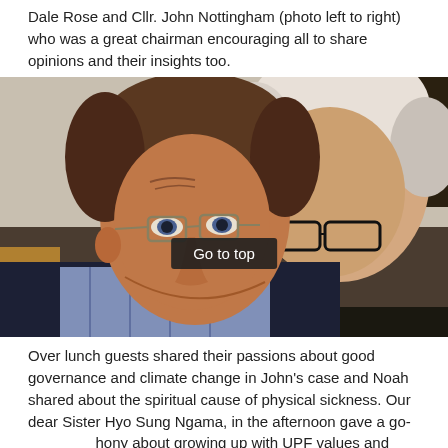Dale Rose and Cllr. John Nottingham (photo left to right) who was a great chairman encouraging all to share opinions and their insights too.
[Figure (photo): Two men seated side by side, both wearing glasses. The man on the left has short brown hair and is wearing a plaid shirt with a dark jacket. The man on the right has white/grey hair and is wearing a dark jacket. Both appear to be listening attentively at what appears to be a meeting or event.]
Over lunch guests shared their passions about good governance and climate change in John's case and Noah shared about the spiritual cause of physical sickness. Our dear Sister Hyo Sung Ngama, in the afternoon gave a go[Go to top]hony about growing up with UPF values and being rais[           ]with such beliefs